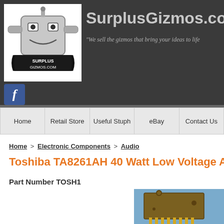[Figure (logo): SurplusGizmos.com robot mascot logo with text 'Surplus Gizmos.com' on a banner]
SurplusGizmos.co | "We sell the gizmos that bring your ideas to life"
[Figure (logo): Facebook 'f' icon button]
Home | Retail Store | Useful Stuph | eBay | Contact Us
Home > Electronic Components > Audio
Toshiba TA8261AH 40 Watt Low Voltage Ampli...
Part Number TOSH1
[Figure (photo): Photo of a Toshiba TA8261AH integrated circuit chip (IC package with gold pins) on a blue background]